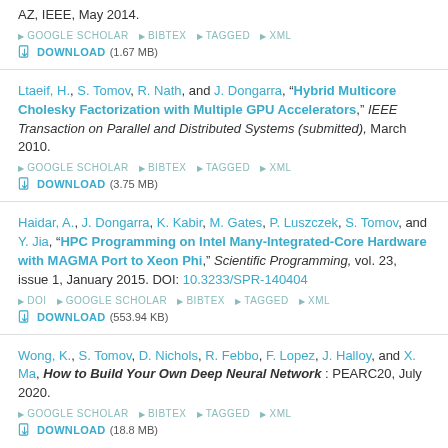AZ, IEEE, May 2014.
GOOGLE SCHOLAR  BIBTEX  TAGGED  XML
DOWNLOAD (1.67 MB)
Ltaeif, H., S. Tomov, R. Nath, and J. Dongarra, "Hybrid Multicore Cholesky Factorization with Multiple GPU Accelerators," IEEE Transaction on Parallel and Distributed Systems (submitted), March 2010.
GOOGLE SCHOLAR  BIBTEX  TAGGED  XML
DOWNLOAD (3.75 MB)
Haidar, A., J. Dongarra, K. Kabir, M. Gates, P. Luszczek, S. Tomov, and Y. Jia, "HPC Programming on Intel Many-Integrated-Core Hardware with MAGMA Port to Xeon Phi," Scientific Programming, vol. 23, issue 1, January 2015. DOI: 10.3233/SPR-140404
DOI  GOOGLE SCHOLAR  BIBTEX  TAGGED  XML
DOWNLOAD (553.94 KB)
Wong, K., S. Tomov, D. Nichols, R. Febbo, F. Lopez, J. Halloy, and X. Ma, How to Build Your Own Deep Neural Network: PEARC20, July 2020.
GOOGLE SCHOLAR  BIBTEX  TAGGED  XML
DOWNLOAD (18.8 MB)